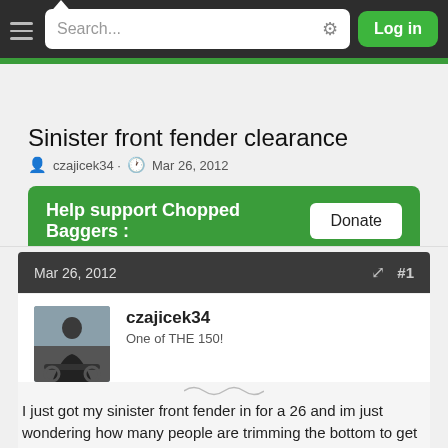Search... Log in
Sinister front fender clearance
czajicek34 · Mar 26, 2012
[Figure (infographic): Green donation banner reading 'Help support Chopped Baggers :' with a white Donate button]
Mar 26, 2012 #1
[Figure (photo): Avatar photo of user czajicek34 showing a person with a motorcycle]
czajicek34
One of THE 150!
I just got my sinister front fender in for a 26 and im just wondering how many people are trimming the bottom to get a little more clearance. just seems kinda low and i dont want to